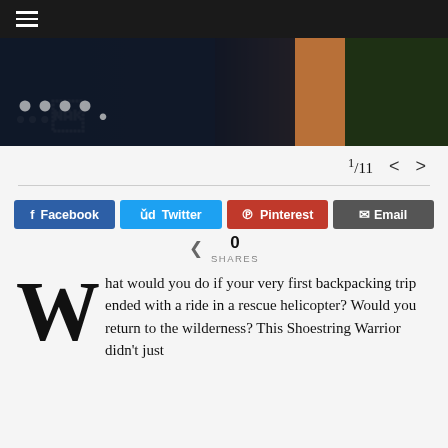☰ (hamburger menu)
[Figure (photo): Dark nature scene with partial text visible, orange trunk element and green foliage on right]
1/11 < >
Facebook  Twitter  Pinterest  Email
0 SHARES
What would you do if your very first backpacking trip ended with a ride in a rescue helicopter? Would you return to the wilderness? This Shoestring Warrior didn't just